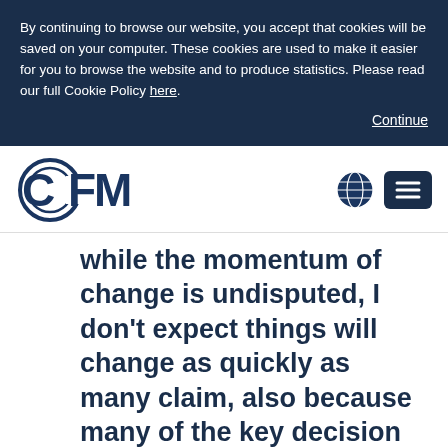By continuing to browse our website, you accept that cookies will be saved on your computer. These cookies are used to make it easier for you to browse the website and to produce statistics. Please read our full Cookie Policy here.
Continue
[Figure (logo): CFM logo in dark navy blue with circular C and stylized letters]
while the momentum of change is undisputed, I don't expect things will change as quickly as many claim, also because many of the key decision makers and processes are unlikely to change overnight. Nor will non-technical skills suddenly become unimportant